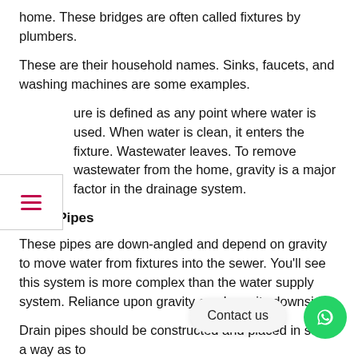home. These bridges are often called fixtures by plumbers.
These are their household names. Sinks, faucets, and washing machines are some examples.
ure is defined as any point where water is used. When water is clean, it enters the fixture. Wastewater leaves. To remove wastewater from the home, gravity is a major factor in the drainage system.
Drain Pipes
These pipes are down-angled and depend on gravity to move water from fixtures into the sewer. You'll see this system is more complex than the water supply system. Reliance upon gravity can have its downsides.
Drain pipes should be constructed and placed in such a way as to